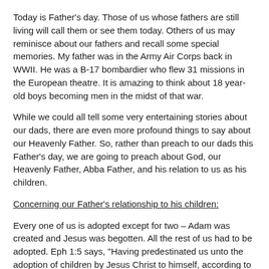Today is Father's day.  Those of us whose fathers are still living will call them or see them today.  Others of us may reminisce about our fathers and recall some special memories.  My father was in the Army Air Corps back in WWII.  He was a B-17 bombardier who flew 31 missions in the European theatre.  It is amazing to think about 18 year-old boys becoming men in the midst of that war.
While we could all tell some very entertaining stories about our dads, there are even more profound things to say about our Heavenly Father.  So, rather than preach to our dads this Father's day, we are going to preach about God, our Heavenly Father, Abba Father, and his relation to us as his children.
Concerning our Father's relationship to his children:
Every one of us is adopted except for two – Adam was created and Jesus was begotten.  All the rest of us had to be adopted.  Eph 1:5 says, "Having predestinated us unto the adoption of children by Jesus Christ to himself, according to the good pleasure of his will."  We were born into Adam's family in which all die and we had to be adopted into God's family by Jesus Christ through whom we will live forever.  Preach salvation.  No one is ever too old, too young, too mean or too sinful.  He wants anyone who will trust what his only